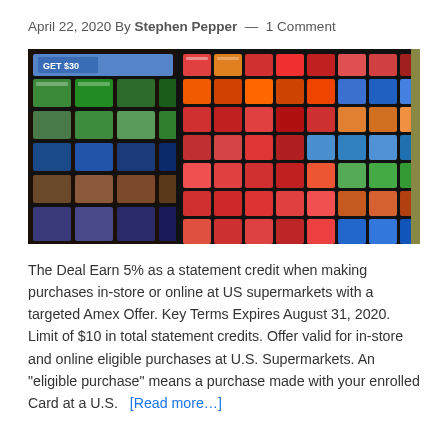April 22, 2020 By Stephen Pepper — 1 Comment
[Figure (photo): Display rack filled with colorful gift cards at a US supermarket store, showing numerous gift card brands arranged on a black pegboard retail display.]
The Deal Earn 5% as a statement credit when making purchases in-store or online at US supermarkets with a targeted Amex Offer. Key Terms Expires August 31, 2020. Limit of $10 in total statement credits. Offer valid for in-store and online eligible purchases at U.S. Supermarkets. An "eligible purchase" means a purchase made with your enrolled Card at a U.S. … [Read more…]